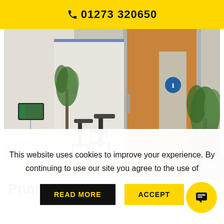📞 01273 320650
[Figure (photo): Office interior showing a wooden door with a blue circular sign, black office chairs, a tablet on a stand on the left, and plants on the right.]
Prime Global
This website uses cookies to improve your experience. By continuing to use our site you agree to the use of
READ MORE
ACCEPT